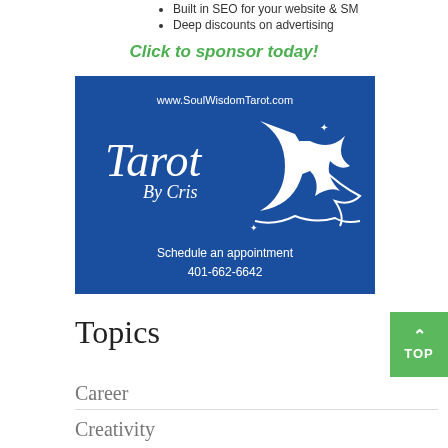Built in SEO for your website & SM
Deep discounts on advertising
Click to sponsor today!
[Figure (illustration): Blue advertisement banner for 'Tarot By Cris' showing www.SoulWisdomTarot.com, a crescent moon and witch silhouette, with text 'Schedule an appointment 401-662-6642']
Topics
Career
Creativity